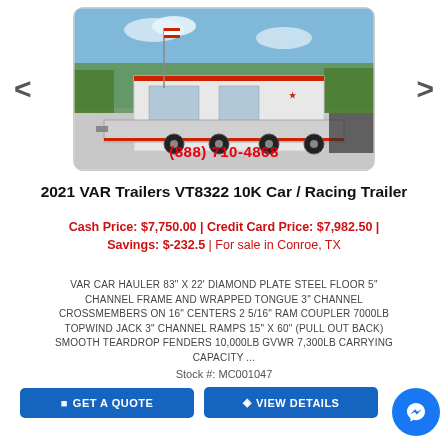[Figure (photo): Photo of a 2021 VAR Trailers VT8322 10K Car/Racing Trailer on a dealer lot, with a flagpole and trees in the background. Phone number (888) 710-4868 overlaid in red text at the bottom of the image.]
2021 VAR Trailers VT8322 10K Car / Racing Trailer
Cash Price: $7,750.00 | Credit Card Price: $7,982.50 | Savings: $-232.5 | For sale in Conroe, TX
VAR CAR HAULER 83" X 22' DIAMOND PLATE STEEL FLOOR 5" CHANNEL FRAME AND WRAPPED TONGUE 3" CHANNEL CROSSMEMBERS ON 16" CENTERS 2 5/16" RAM COUPLER 7000LB TOPWIND JACK 3" CHANNEL RAMPS 15" X 60" (PULL OUT BACK) SMOOTH TEARDROP FENDERS 10,000LB GVWR 7,300LB CARRYING CAPACITY ...
Stock #: MC001047